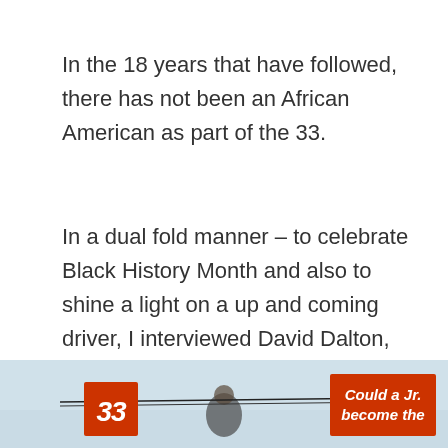In the 18 years that have followed, there has not been an African American as part of the 33.
In a dual fold manner – to celebrate Black History Month and also to shine a light on a up and coming driver, I interviewed David Dalton, Jr.
[Figure (photo): Bottom strip showing a partial magazine-style image with a red badge showing '33' on the left and a red overlay text reading 'Could a Jr. become the' on the right, against a light blue sky background.]